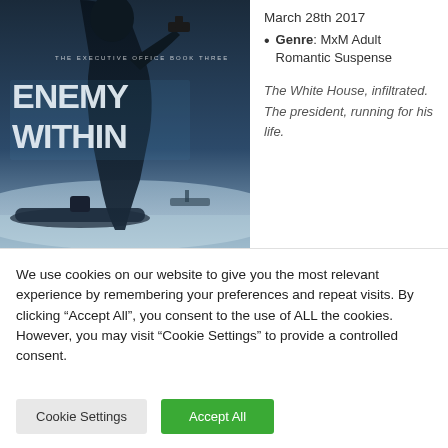[Figure (illustration): Book cover for 'Enemy Within: The Executive Office Book Three' showing a dark silhouette of a person holding a gun against a background of a submarine and icy water, with large white text reading ENEMY WITHIN.]
March 28th 2017
Genre: MxM Adult Romantic Suspense
The White House, infiltrated. The president, running for his life.
We use cookies on our website to give you the most relevant experience by remembering your preferences and repeat visits. By clicking “Accept All”, you consent to the use of ALL the cookies. However, you may visit “Cookie Settings” to provide a controlled consent.